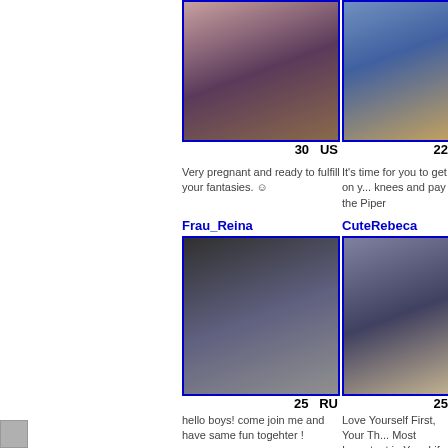[Figure (photo): Profile photo top-left column, partially visible]
[Figure (photo): Female profile photo, dark hair, red lips, age 30, US]
[Figure (photo): Female profile photo, purple hair, age 22]
30   US
22
Very pregnant and ready to fulfill your fantasies. :)
It's time for you to get on your knees and pay the Piper
Frau_Reina
CuteRebeca
[Figure (photo): Frau_Reina profile photo, dark dramatic scene, age 25, RU]
[Figure (photo): CuteRebeca profile photo, woman on bed in black outfit, age 25]
25   RU
25
hello boys! come join me and have same fun togehter !
Love Yourself First, Your Th... Most Important in Your Life
Diamond_White
SQUIRTLOVE_BR...
[Figure (photo): Diamond_White profile photo, tattoo visible]
[Figure (photo): SQUIRTLOVE_BR profile photo, dark clothing]
[Figure (photo): Small thumbnail bottom-left corner]